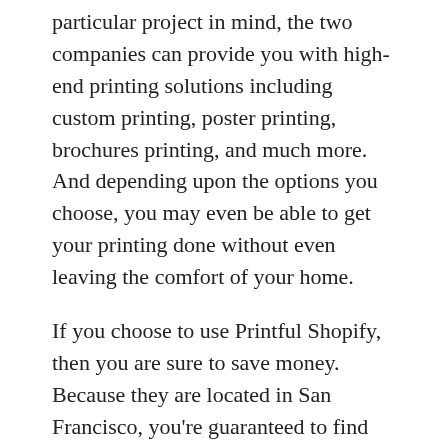particular project in mind, the two companies can provide you with high-end printing solutions including custom printing, poster printing, brochures printing, and much more. And depending upon the options you choose, you may even be able to get your printing done without even leaving the comfort of your home.
If you choose to use Printful Shopify, then you are sure to save money. Because they are located in San Francisco, you're guaranteed to find quality results at very competitive rates. You can even use their low-cost printing services to market your internet business and help your offline business grow.
If you want to reduce prices as much as possible, then both Printful and Teespring can provide